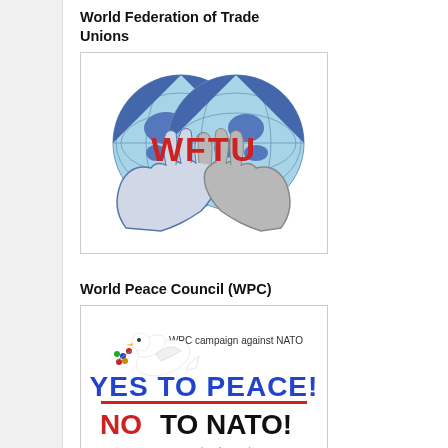World Federation of Trade Unions
[Figure (logo): WFTU logo: two hands holding two globe halves forming a heart shape, with bold red text 'WFTU' across the center]
World Peace Council (WPC)
[Figure (logo): WPC campaign against NATO poster: dove with olive branch, text 'YES TO PEACE!' in blue, 'NO TO NATO!' in red and black, 'Protest NATO's summit. July 2016 in Warsaw!']
902 KKE Portal (Greek)